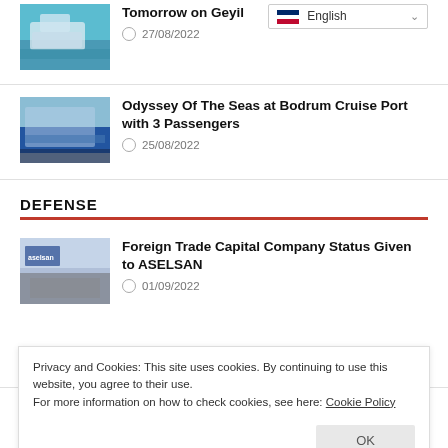[Figure (photo): Boat on turquoise water]
Tomorrow on Geyil
27/08/2022
[Figure (photo): Odyssey Of The Seas cruise ship at Bodrum]
Odyssey Of The Seas at Bodrum Cruise Port with 3 Passengers
25/08/2022
DEFENSE
[Figure (photo): Exhibition hall with ASELSAN booth]
Foreign Trade Capital Company Status Given to ASELSAN
01/09/2022
Privacy and Cookies: This site uses cookies. By continuing to use this website, you agree to their use.
For more information on how to check cookies, see here: Cookie Policy
[Figure (photo): Military transport aircraft Y-20]
China's Military Transport Aircraft Y-20 Will